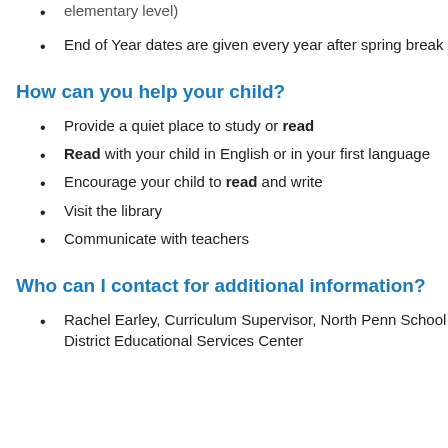elementary level)
End of Year dates are given every year after spring break
How can you help your child?
Provide a quiet place to study or read
Read with your child in English or in your first language
Encourage your child to read and write
Visit the library
Communicate with teachers
Who can I contact for additional information?
Rachel Earley, Curriculum Supervisor, North Penn School District Educational Services Center